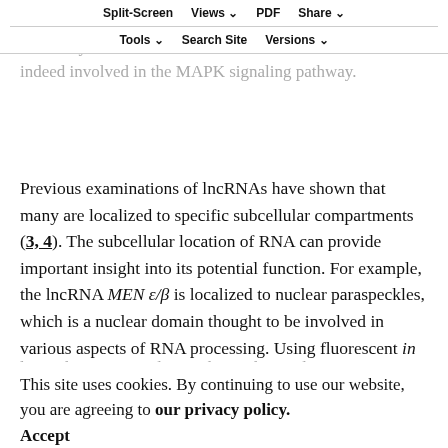MAPK signaling. Further investigation is currently underway to determine whether or not SPRY4-IT1 is indeed involved in the MAPK signaling pathway.
Previous examinations of lncRNAs have shown that many are localized to specific subcellular compartments (3, 4). The subcellular location of RNA can provide important insight into its potential function. For example, the lncRNA MEN ε/β is localized to nuclear paraspeckles, which is a nuclear domain thought to be involved in various aspects of RNA processing. Using fluorescent in situ hybridization, we found that SPRY4-IT1 was localized to the cytoplasm. Although the majority of functionally characterized
This site uses cookies. By continuing to use our website, you are agreeing to our privacy policy. Accept
located in many nuclear and cytoplasmic lncRNAs cytoplasm (39). Within the cytoplasm, it is possible that the lncRNAs